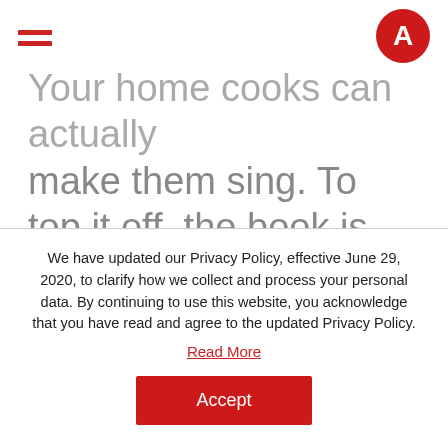≡  A
Your home cooks can actually make them sing. To top it off, the book is beautifully written and photographed, giving you not just kitchen challenges, but true insight into the heart and history of the man behind the dishes. A must for any foodie
We have updated our Privacy Policy, effective June 29, 2020, to clarify how we collect and process your personal data. By continuing to use this website, you acknowledge that you have read and agree to the updated Privacy Policy.
Read More
Accept